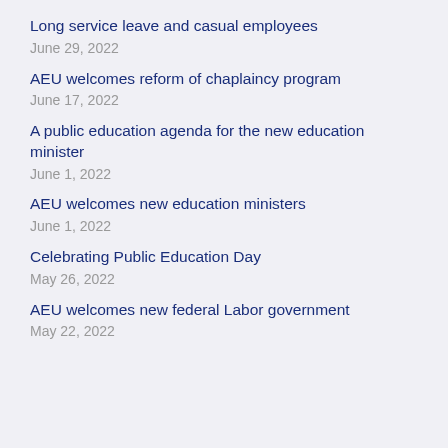Long service leave and casual employees
June 29, 2022
AEU welcomes reform of chaplaincy program
June 17, 2022
A public education agenda for the new education minister
June 1, 2022
AEU welcomes new education ministers
June 1, 2022
Celebrating Public Education Day
May 26, 2022
AEU welcomes new federal Labor government
May 22, 2022